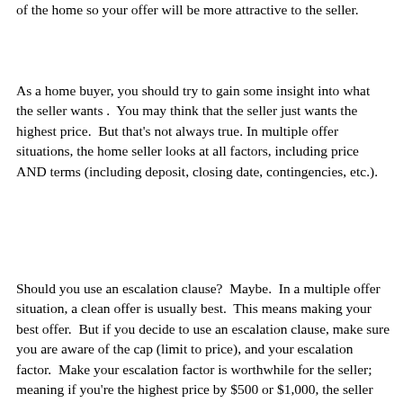of the home so your offer will be more attractive to the seller.
As a home buyer, you should try to gain some insight into what the seller wants .  You may think that the seller just wants the highest price.  But that's not always true. In multiple offer situations, the home seller looks at all factors, including price AND terms (including deposit, closing date, contingencies, etc.).
Should you use an escalation clause?  Maybe.  In a multiple offer situation, a clean offer is usually best.  This means making your best offer.  But if you decide to use an escalation clause, make sure you are aware of the cap (limit to price), and your escalation factor.  Make your escalation factor is worthwhile for the seller; meaning if you're the highest price by $500 or $1,000, the seller may consider other factors in their decision.  Also make sure that your escalation is in line with the estimated